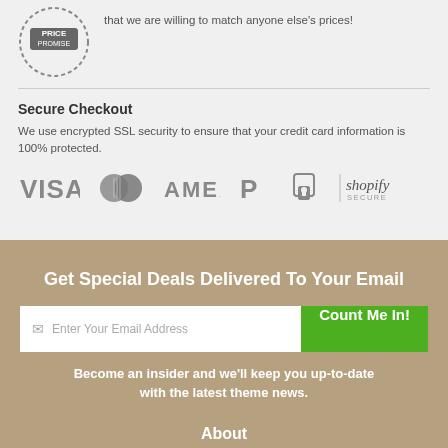that we are willing to match anyone else's prices!
Secure Checkout
We use encrypted SSL security to ensure that your credit card information is 100% protected.
[Figure (logo): Payment icons: VISA, Mastercard, AMEX, PayPal, Shopify Secure]
Get Special Deals Delivered To Your Email
Enter Your Email Address
Count Me In!
Become an insider and we'll keep you up-to-date with the latest theme news.
About